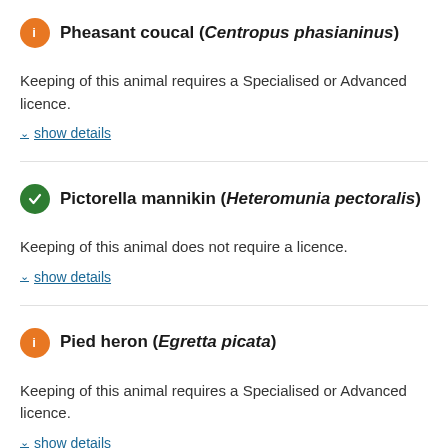Pheasant coucal (Centropus phasianinus)
Keeping of this animal requires a Specialised or Advanced licence.
show details
Pictorella mannikin (Heteromunia pectoralis)
Keeping of this animal does not require a licence.
show details
Pied heron (Egretta picata)
Keeping of this animal requires a Specialised or Advanced licence.
show details